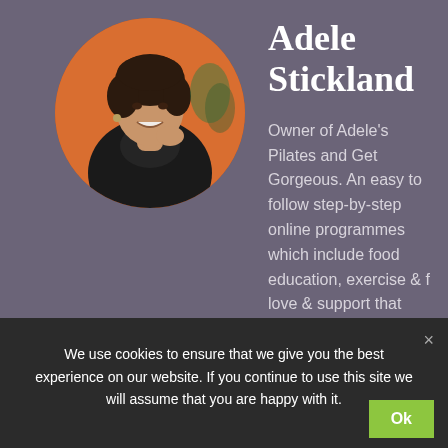[Figure (photo): Circular portrait photo of a woman smiling, wearing a dark patterned blouse, with an orange background.]
Adele Stickland
Owner of Adele's Pilates and Get Gorgeous. An easy to follow step-by-step online programmes which include food education, exercise & f love & support that
We use cookies to ensure that we give you the best experience on our website. If you continue to use this site we will assume that you are happy with it.